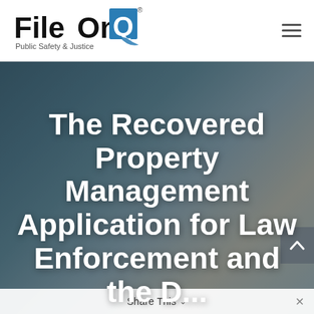[Figure (logo): FileOnQ logo — 'File' in bold black, 'On' in bold black with a blue square containing 'Q' in blue, 'Public Safety & Justice' tagline below, with a teal swoosh graphic]
[Figure (photo): Blurred dark photo background showing a passport, camera, and other items on a surface with teal/grey tones]
The Recovered Property Management Application for Law Enforcement and the D...
Share This